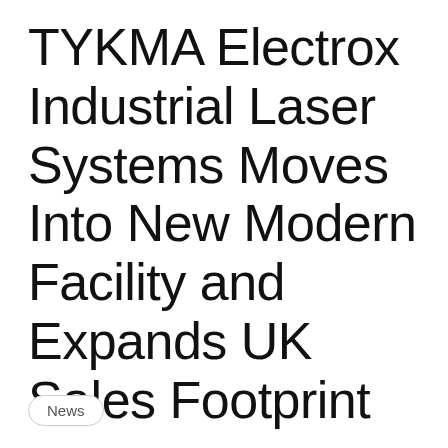TYKMA Electrox Industrial Laser Systems Moves Into New Modern Facility and Expands UK Sales Footprint
News